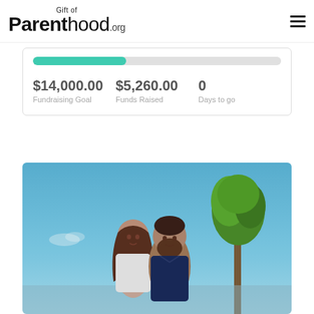Gift of Parenthood.org
[Figure (infographic): Fundraising progress bar and stats showing $14,000.00 Fundraising Goal, $5,260.00 Funds Raised, 0 Days to go. Teal progress bar approximately 37% filled.]
[Figure (photo): A couple standing outdoors under a bright blue sky with a tree in the background on the right side.]